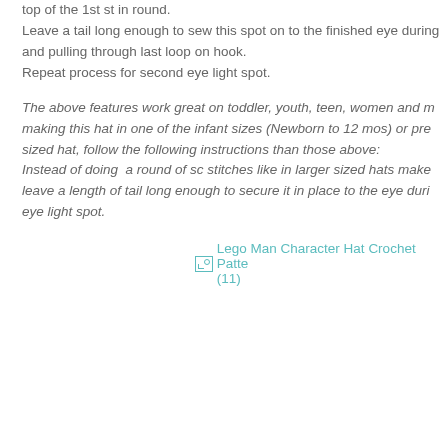top of the 1st st in round.
Leave a tail long enough to sew this spot on to the finished eye during and pulling through last loop on hook.
Repeat process for second eye light spot.
The above features work great on toddler, youth, teen, women and m making this hat in one of the infant sizes (Newborn to 12 mos) or pre sized hat, follow the following instructions than those above: Instead of doing a round of sc stitches like in larger sized hats make leave a length of tail long enough to secure it in place to the eye duri eye light spot.
[Figure (other): Broken image placeholder with link text: Lego Man Character Hat Crochet Patte (11)]